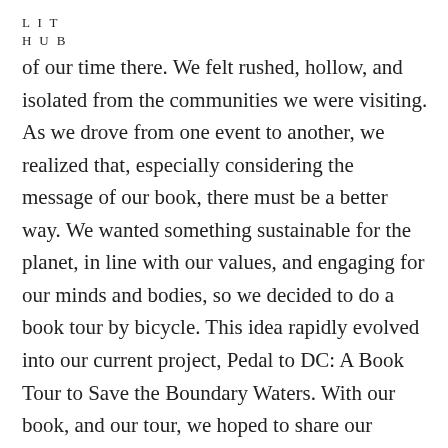L I T
H U B
of our time there. We felt rushed, hollow, and isolated from the communities we were visiting. As we drove from one event to another, we realized that, especially considering the message of our book, there must be a better way. We wanted something sustainable for the planet, in line with our values, and engaging for our minds and bodies, so we decided to do a book tour by bicycle. This idea rapidly evolved into our current project, Pedal to DC: A Book Tour to Save the Boundary Waters. With our book, and our tour, we hoped to share our experience in the Boundary Waters with people across the